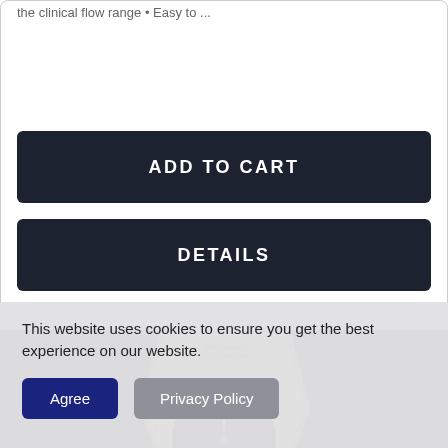the clinical flow range • Easy to ...
ADD TO CART
DETAILS
[Figure (photo): Product photo of a medical flow meter device with gold/cream colored casing and circular dial, placed on a dark textured background]
This website uses cookies to ensure you get the best experience on our website.
Agree
Privacy Policy